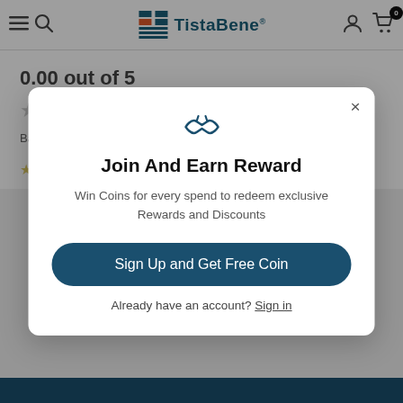TistaBene® — Navigation bar with menu, search, logo, account, and cart icons
0.00 out of 5
☆☆☆☆☆
Based on 0 Reviews
Join And Earn Reward
Win Coins for every spend to redeem exclusive Rewards and Discounts
Sign Up and Get Free Coin
Already have an account? Sign in